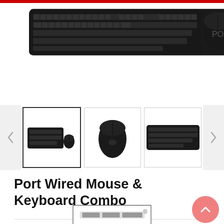[Figure (photo): Top portion of a product page showing a black wired keyboard and mouse combo on white background, with a red header bar at the top.]
[Figure (photo): Thumbnail carousel showing three product images: (1) keyboard and mouse combo, (2) close-up of the black wired mouse, (3) close-up of the keyboard only. Left and right navigation arrows visible.]
Port Wired Mouse & Keyboard Combo
[Figure (logo): Partial brand logo image at the bottom of the page inside a bordered rectangle.]